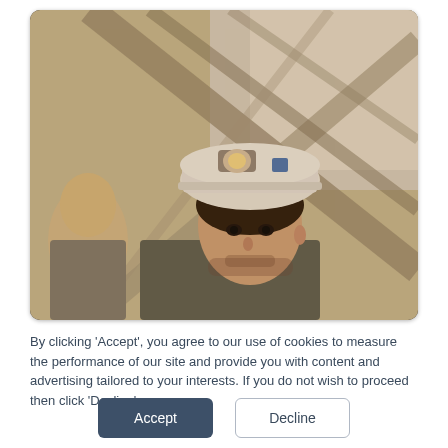[Figure (photo): Vintage photograph of a male worker wearing a white hard hat with a lamp attached, standing near metal scaffolding or structural steel beams. Another person is partially visible on the left. The image has warm, aged coloring typical of 1970s-era film photography.]
By clicking 'Accept', you agree to our use of cookies to measure the performance of our site and provide you with content and advertising tailored to your interests. If you do not wish to proceed then click 'Decline'